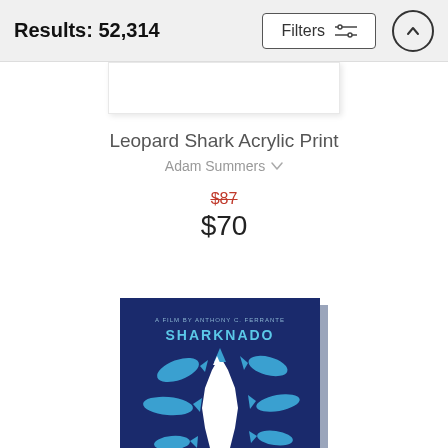Results: 52,314
Leopard Shark Acrylic Print
Adam Summers
$87 $70
[Figure (illustration): Sharknado movie poster art canvas print on dark navy blue background showing stylized sharks in blue and white swirling around a tornado with text 'A FILM BY ANTHONY C. FERRANTE' and 'SHARKNADO']